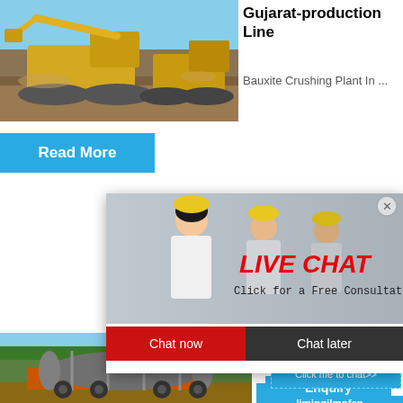[Figure (photo): Mining excavator/construction equipment at a quarry or mining site with yellow machinery]
Gujarat-production Line
Bauxite Crushing Plant In ...
Read More
[Figure (photo): Live Chat overlay popup with workers in yellow hard hats, showing LIVE CHAT heading, Chat now and Chat later buttons]
LIVE CHAT
Click for a Free Consultation
Chat now
Chat later
hour online
[Figure (photo): Industrial ball mill or rotary drum on a truck/transport vehicle]
2021-8-2
Read
Click me to chat>>
Enquiry
limingjlmofen